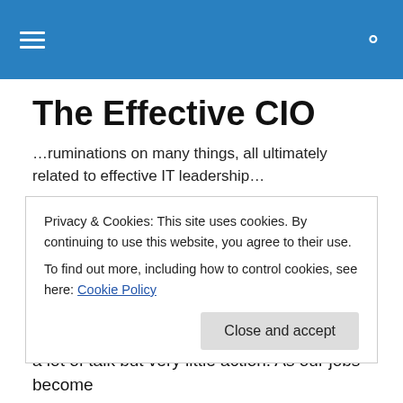The Effective CIO
…ruminations on many things, all ultimately related to effective IT leadership…
Go Away!
As the summer reaches it peak, let's all take moment to
Privacy & Cookies: This site uses cookies. By continuing to use this website, you agree to their use.
To find out more, including how to control cookies, see here: Cookie Policy
a lot of talk but very little action. As our jobs become